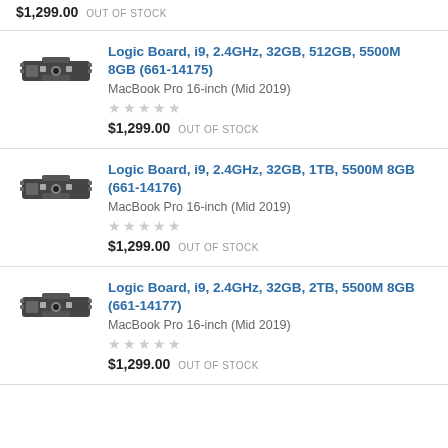$1,299.00  OUT OF STOCK
Logic Board, i9, 2.4GHz, 32GB, 512GB, 5500M 8GB (661-14175)
MacBook Pro 16-inch (Mid 2019)
★★★★★
$1,299.00  OUT OF STOCK
Logic Board, i9, 2.4GHz, 32GB, 1TB, 5500M 8GB (661-14176)
MacBook Pro 16-inch (Mid 2019)
★★★★★
$1,299.00  OUT OF STOCK
Logic Board, i9, 2.4GHz, 32GB, 2TB, 5500M 8GB (661-14177)
MacBook Pro 16-inch (Mid 2019)
★★★★★
$1,299.00  OUT OF STOCK